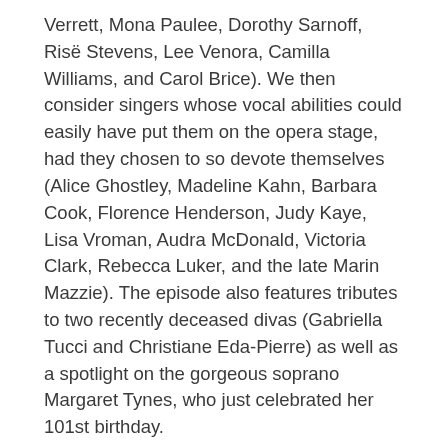Verrett, Mona Paulee, Dorothy Sarnoff, Risë Stevens, Lee Venora, Camilla Williams, and Carol Brice). We then consider singers whose vocal abilities could easily have put them on the opera stage, had they chosen to so devote themselves (Alice Ghostley, Madeline Kahn, Barbara Cook, Florence Henderson, Judy Kaye, Lisa Vroman, Audra McDonald, Victoria Clark, Rebecca Luker, and the late Marin Mazzie). The episode also features tributes to two recently deceased divas (Gabriella Tucci and Christiane Eda-Pierre) as well as a spotlight on the gorgeous soprano Margaret Tynes, who just celebrated her 101st birthday.
Countermelody is a podcast devoted to the glory and the power of the human voice raised in song. Singer and vocal aficionado Daniel Gundlach explores great singers of the past and present focusing in particular on those who are less well-